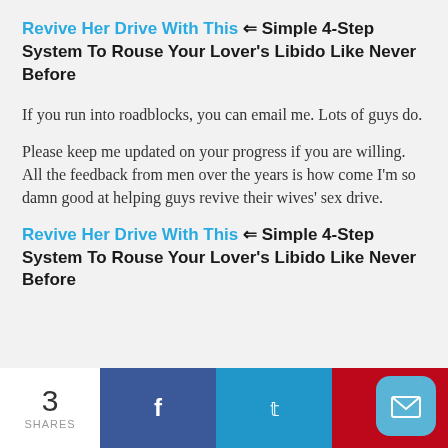Revive Her Drive With This ⇐ Simple 4-Step System To Rouse Your Lover's Libido Like Never Before
If you run into roadblocks, you can email me. Lots of guys do.
Please keep me updated on your progress if you are willing. All the feedback from men over the years is how come I'm so damn good at helping guys revive their wives' sex drive.
Revive Her Drive With This ⇐ Simple 4-Step System To Rouse Your Lover's Libido Like Never Before
3 SHARES | Facebook | Twitter | Pinterest